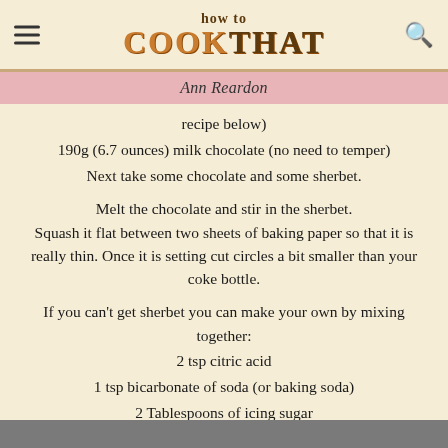how to COOKTHAT
Ann Reardon
recipe below)
190g (6.7 ounces) milk chocolate (no need to temper)
Next take some chocolate and some sherbet.
Melt the chocolate and stir in the sherbet. Squash it flat between two sheets of baking paper so that it is really thin. Once it is setting cut circles a bit smaller than your coke bottle.
If you can't get sherbet you can make your own by mixing together:
2 tsp citric acid
1 tsp bicarbonate of soda (or baking soda)
2 Tablespoons of icing sugar
Coke Cream
[Figure (photo): Bottom portion of an image, partially visible]